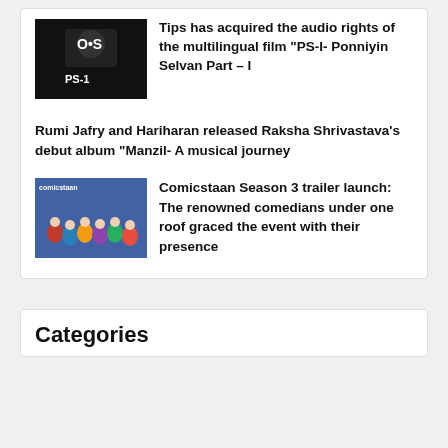[Figure (photo): Thumbnail image for PS-I Ponniyin Selvan article showing movie poster with dark background and text overlay]
Tips has acquired the audio rights of the multilingual film “PS-I- Ponniyin Selvan Part – I
Rumi Jafry and Hariharan released Raksha Shrivastava’s debut album “Manzil- A musical journey
[Figure (photo): Thumbnail image for Comicstaan Season 3 trailer launch event showing group of people]
Comicstaan Season 3 trailer launch: The renowned comedians under one roof graced the event with their presence
Categories